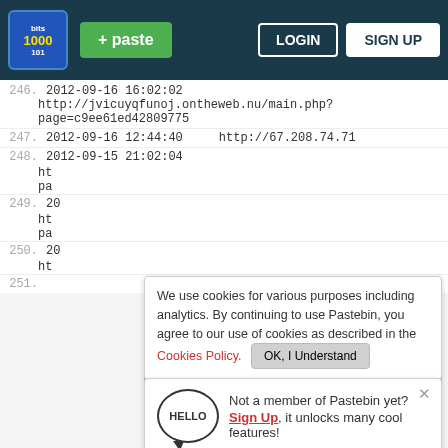Pastebin navigation: + paste | LOGIN | SIGN UP
246. 2012-09-16 16:02:02
http://jvicuyqfunoj.ontheweb.nu/main.php?
page=c9ee61ed42809775
247. 2012-09-16 12:44:40    http://67.208.74.71
248. 2012-09-15 21:02:04
ht
pa
20
ht
We use cookies for various purposes including analytics. By continuing to use Pastebin, you agree to our use of cookies as described in the Cookies Policy. OK, I Understand
249.
20
Not a member of Pastebin yet? Sign Up, it unlocks many cool features!
250.
20
ht
[Figure (screenshot): Ad banner for Crowd Evolution! game with 'Ad' label, game imagery, and Play Now button]
251.